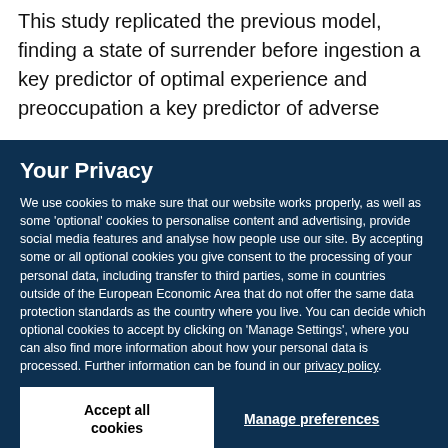This study replicated the previous model, finding a state of surrender before ingestion a key predictor of optimal experience and preoccupation a key predictor of adverse
Your Privacy
We use cookies to make sure that our website works properly, as well as some 'optional' cookies to personalise content and advertising, provide social media features and analyse how people use our site. By accepting some or all optional cookies you give consent to the processing of your personal data, including transfer to third parties, some in countries outside of the European Economic Area that do not offer the same data protection standards as the country where you live. You can decide which optional cookies to accept by clicking on 'Manage Settings', where you can also find more information about how your personal data is processed. Further information can be found in our privacy policy.
Accept all cookies
Manage preferences